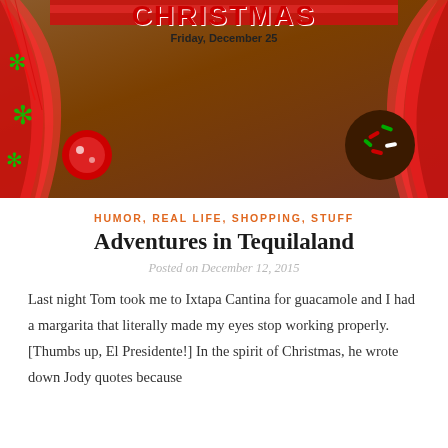[Figure (photo): Photo of a Christmas-themed Walmart display/calendar with red tinsel garland wreath, green snowflake decorations, and a sign reading 'CHRISTMAS Friday, December 25'. Cookie decorations visible on right side.]
HUMOR, REAL LIFE, SHOPPING, STUFF
Adventures in Tequilaland
Posted on December 12, 2015
Last night Tom took me to Ixtapa Cantina for guacamole and I had a margarita that literally made my eyes stop working properly. [Thumbs up, El Presidente!] In the spirit of Christmas, he wrote down Jody quotes because